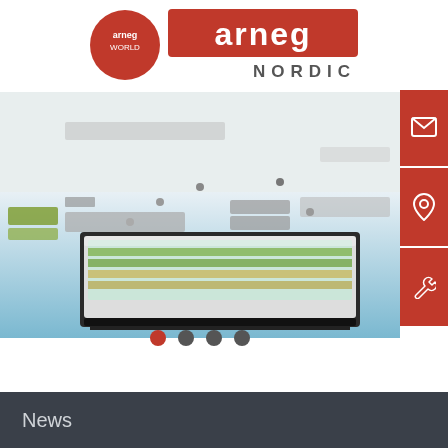[Figure (logo): Arneg World circular red logo with white text 'arneg WORLD' and Arneg Nordic rectangular red logo banner]
[Figure (photo): Hero image showing a supermarket refrigeration display unit in the foreground (large glass-fronted refrigerated cabinet with green/yellow product displays) and a 3D overhead view of a supermarket layout with multiple refrigeration units and shoppers in the background]
News